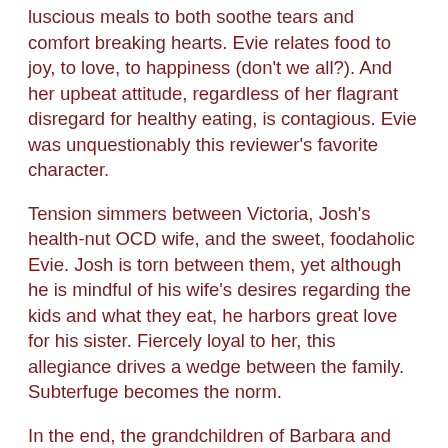luscious meals to both soothe tears and comfort breaking hearts. Evie relates food to joy, to love, to happiness (don't we all?). And her upbeat attitude, regardless of her flagrant disregard for healthy eating, is contagious. Evie was unquestionably this reviewer's favorite character.
Tension simmers between Victoria, Josh's health-nut OCD wife, and the sweet, foodaholic Evie. Josh is torn between them, yet although he is mindful of his wife's desires regarding the kids and what they eat, he harbors great love for his sister. Fiercely loyal to her, this allegiance drives a wedge between the family. Subterfuge becomes the norm.
In the end, the grandchildren of Barbara and Jonathan Rose are the instigating factors of changes needed and changes to come. Brilliantly planned, they turn life upside down to force healing in their parents' relationship.
War of the Roses – The Children is highly recommended as a fascinating look at psychology and family with a tongue-in-cheek flavor that will make readers chuckle and smile. Question – will there be a sequel to the sequel? Perhaps Mr.